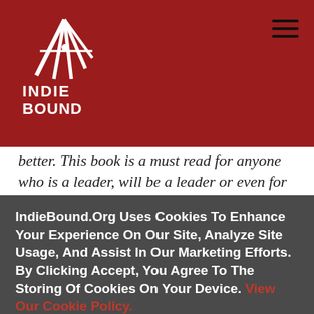[Figure (logo): IndieBound logo: stylized hand/feather graphic in white on dark red background, with text INDIE BOUND below]
better. This book is a must read for anyone who is a leader, will be a leader or even for those being led."
--Kelly Leonard, Executive Director of Insights and Applied Improvisation at The Second City
"Concrete, energetic, and accessible, this is a must-
IndieBound.Org Uses Cookies To Enhance Your Experience On Our Site, Analyze Site Usage, And Assist In Our Marketing Efforts. By Clicking Accept, You Agree To The Storing Of Cookies On Your Device. View Our Cookie Policy.
Give me more info
Accept all Cookies